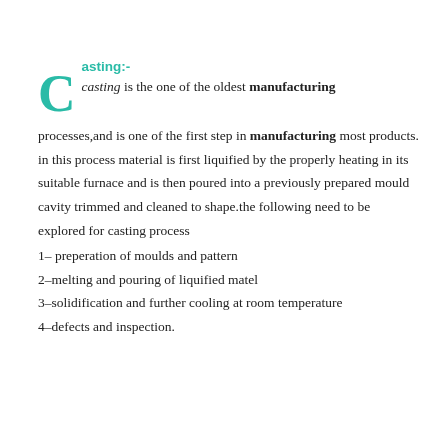Casting:-
casting is the one of the oldest manufacturing processes,and is one of the first step in manufacturing most products.
in this process material is first liquified by the properly heating in its suitable furnace and is then poured into a previously prepared mould cavity trimmed and cleaned to shape.the following need to be explored for casting process
1- preperation of moulds and pattern
2-melting and pouring of liquified matel
3-solidification and further cooling at room temperature
4-defects and inspection.